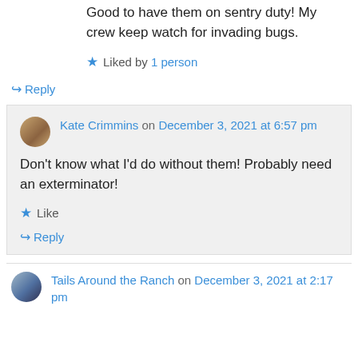Good to have them on sentry duty! My crew keep watch for invading bugs.
★ Liked by 1 person
↪ Reply
Kate Crimmins on December 3, 2021 at 6:57 pm
Don't know what I'd do without them! Probably need an exterminator!
★ Like
↪ Reply
Tails Around the Ranch on December 3, 2021 at 2:17 pm